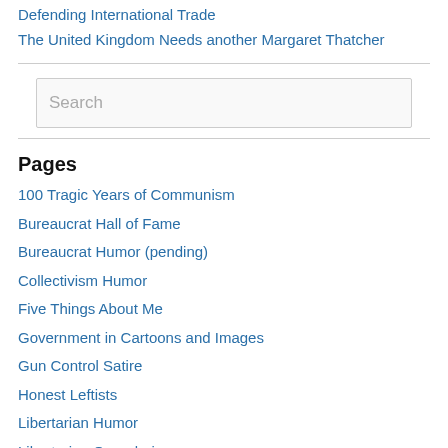Defending International Trade
The United Kingdom Needs another Margaret Thatcher
Pages
100 Tragic Years of Communism
Bureaucrat Hall of Fame
Bureaucrat Humor (pending)
Collectivism Humor
Five Things About Me
Government in Cartoons and Images
Gun Control Satire
Honest Leftists
Libertarian Humor
Libertarian Quandaries